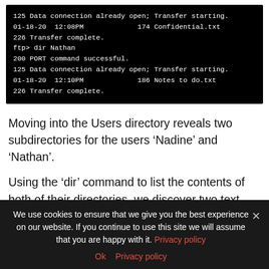[Figure (screenshot): Terminal/FTP session output showing file transfer commands and results including '125 Data connection already open; Transfer starting.', '01-18-20  12:08PM  174 Confidential.txt', '226 Transfer complete.', 'ftp> dir Nathan', '200 PORT command successful.', '125 Data connection already open; Transfer starting.', '01-18-20  12:10PM  186 Notes to do.txt', '226 Transfer complete.']
Moving into the Users directory reveals two subdirectories for the users ‘Nadine’ and ‘Nathan’.
Using the ‘dir’ command to list the contents of both of their directories, we discover two text files present on the FTP server.
Let’s use the FTP ‘get’ command to transfer these
We use cookies to ensure that we give you the best experience on our website. If you continue to use this site we will assume that you are happy with it. Privacy policy
Ok  Privacy policy